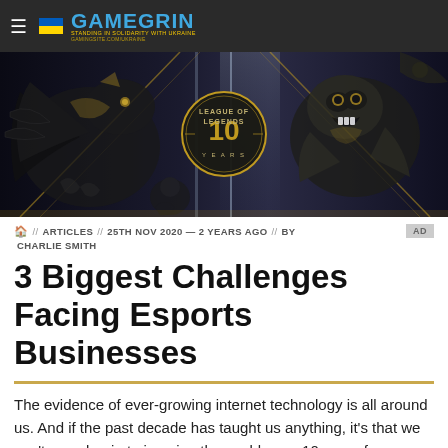GAMEGRIN — STANDING IN SOLIDARITY WITH UKRAINE
[Figure (illustration): League of Legends 10th anniversary banner artwork featuring various game characters in black and gold illustration style, with the League of Legends 10 year logo in the center.]
// ARTICLES // 25TH NOV 2020 — 2 YEARS AGO // BY CHARLIE SMITH    AD
3 Biggest Challenges Facing Esports Businesses
The evidence of ever-growing internet technology is all around us. And if the past decade has taught us anything, it's that we can't even begin to imagine the world even 10 years from now. In the same way, 20 years ago a sports